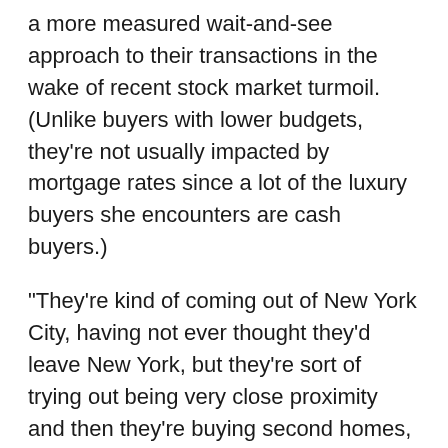a more measured wait-and-see approach to their transactions in the wake of recent stock market turmoil. (Unlike buyers with lower budgets, they're not usually impacted by mortgage rates since a lot of the luxury buyers she encounters are cash buyers.)
“They’re kind of coming out of New York City, having not ever thought they’d leave New York, but they’re sort of trying out being very close proximity and then they’re buying second homes, they’re buying places down at the beach, out in the country,” Sutherlin said.
This shift of New York City clients comes at a time when Manhattan’s median rent has hit a new high of $4,000 per month, according to a recent report from Douglas Elliman.